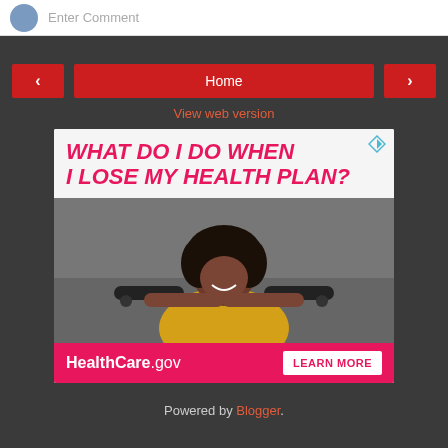[Figure (screenshot): Top of a comment input area with a user avatar and 'Enter Comment' placeholder text on a white background]
[Figure (screenshot): Navigation row with red left arrow button, red Home button, and red right arrow button on dark background]
View web version
[Figure (infographic): HealthCare.gov advertisement with text 'WHAT DO I DO WHEN I LOSE MY HEALTH PLAN?' in pink/magenta on light background, photo of a young woman holding a skateboard in a yellow shirt, and bottom bar with HealthCare.gov logo and LEARN MORE button]
Powered by Blogger.